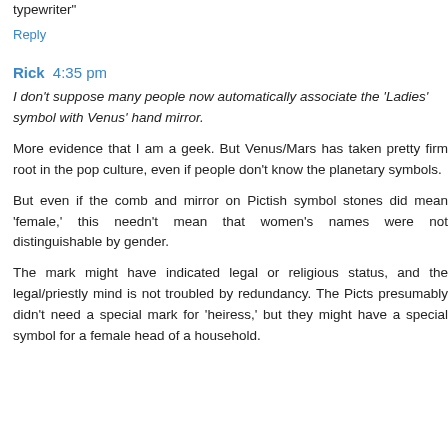typewriter"
Reply
Rick 4:35 pm
I don't suppose many people now automatically associate the 'Ladies' symbol with Venus' hand mirror.
More evidence that I am a geek. But Venus/Mars has taken pretty firm root in the pop culture, even if people don't know the planetary symbols.
But even if the comb and mirror on Pictish symbol stones did mean 'female,' this needn't mean that women's names were not distinguishable by gender.
The mark might have indicated legal or religious status, and the legal/priestly mind is not troubled by redundancy. The Picts presumably didn't need a special mark for 'heiress,' but they might have a special symbol for a female head of a household.